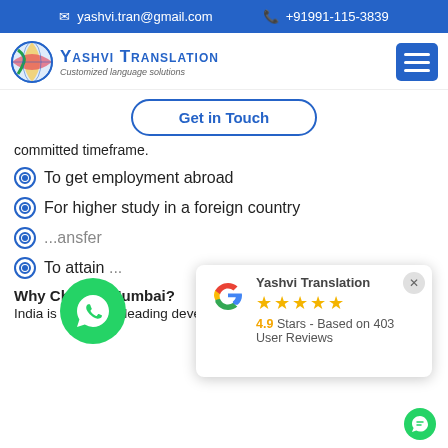yashvi.tran@gmail.com   +91991-115-3839
[Figure (logo): Yashvi Translation logo with globe graphic, text 'Yashvi Translation' and subtitle 'Customized language solutions']
Get in Touch
committed timeframe.
To get employment abroad
For higher study in a foreign country
[partially obscured] ...ansfer
To attain [partially obscured]
Why Choo[se Yashvi Translation] Mumbai?
India is one of the leading developing countries growing sin[ce it]
[Figure (illustration): WhatsApp green chat bubble icon]
[Figure (infographic): Google review overlay: Yashvi Translation, 5 stars, 4.9 Stars - Based on 403 User Reviews]